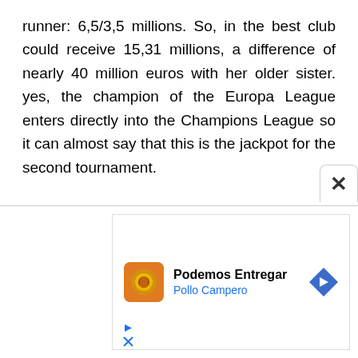runner: 6,5/3,5 millions. So, in the best club could receive 15,31 millions, a difference of nearly 40 million euros with her older sister. yes, the champion of the Europa League enters directly into the Champions League so it can almost say that this is the jackpot for the second tournament.
[Figure (screenshot): Advertisement overlay with close button (X). Ad shows 'Podemos Entregar' and 'Pollo Campero' with an orange icon and blue navigation arrow logo. Below the ad box are small play and close icons.]